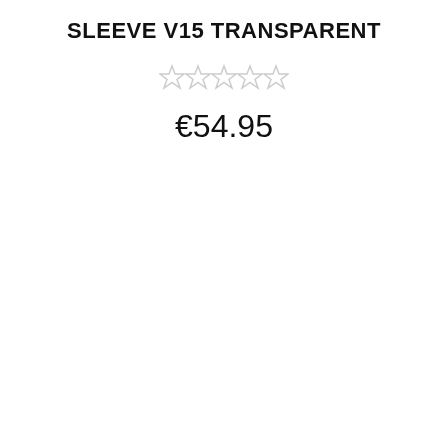SLEEVE V15 TRANSPARENT
[Figure (other): Five empty star rating icons (no stars filled)]
€54.95